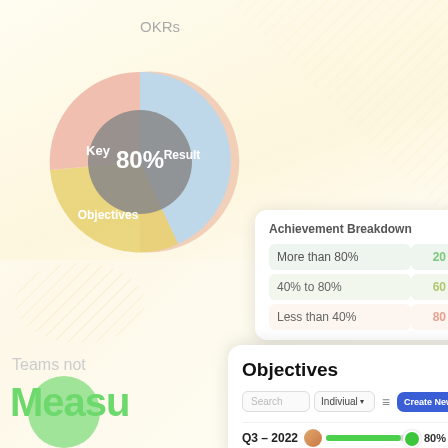[Figure (donut-chart): OKR donut chart showing Key (blue), Result (yellow), Objectives (salmon) segments with 80% in center]
Achievement Breakdown
| Category | Value |
| --- | --- |
| More than 80% | 20 |
| 40% to 80% | 60 |
| Less than 40% | 80 |
Teams not
Measu
Objectives
Search  Indiviual  Create New
Q3 – 2022  80% :